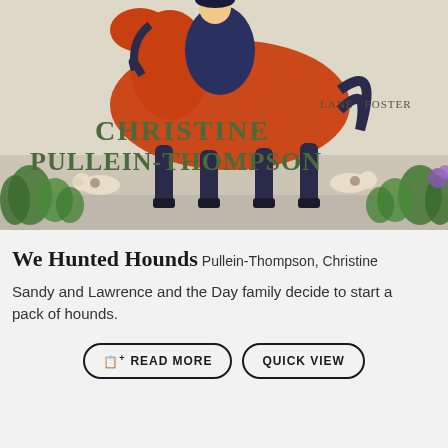[Figure (illustration): Book cover illustration showing a rider on a galloping orange/chestnut horse with hounds, text reads 'LANE FOSTER' and 'CHRISTINE PULLEIN-THOMPSON' in green letters on a cream/white background with green grass elements]
We Hunted Hounds
Pullein-Thompson, Christine
Sandy and Lawrence and the Day family decide to start a pack of hounds.
READ MORE   QUICK VIEW